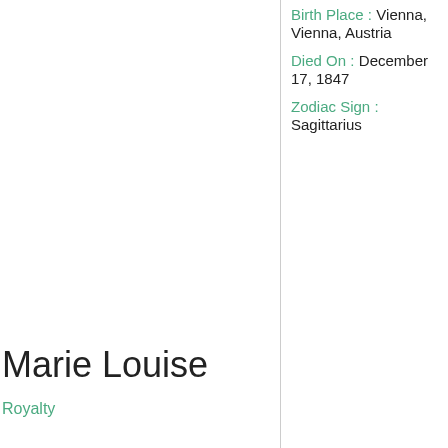Birth Place : Vienna, Vienna, Austria
Died On : December 17, 1847
Zodiac Sign : Sagittarius
Marie Louise
Royalty